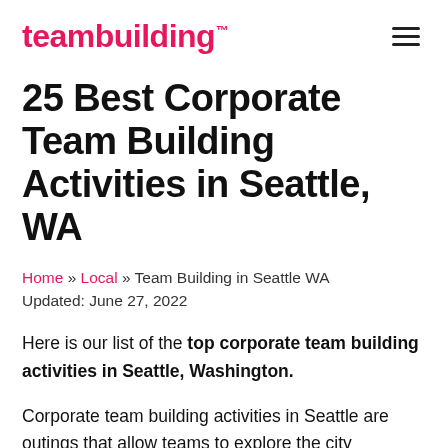teambuilding™
25 Best Corporate Team Building Activities in Seattle, WA
Home » Local » Team Building in Seattle WA
Updated: June 27, 2022
Here is our list of the top corporate team building activities in Seattle, Washington.
Corporate team building activities in Seattle are outings that allow teams to explore the city